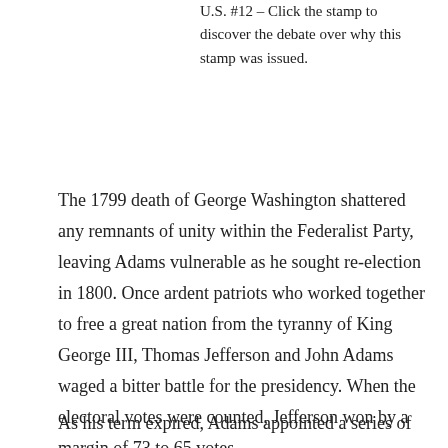U.S. #12 – Click the stamp to discover the debate over why this stamp was issued.
The 1799 death of George Washington shattered any remnants of unity within the Federalist Party, leaving Adams vulnerable as he sought re-election in 1800. Once ardent patriots who worked together to free a great nation from the tyranny of King George III, Thomas Jefferson and John Adams waged a bitter battle for the presidency. When the electoral votes were counted, Jefferson won by a margin of 73 to 65 votes.
As his term expired, Adams appointed a series of